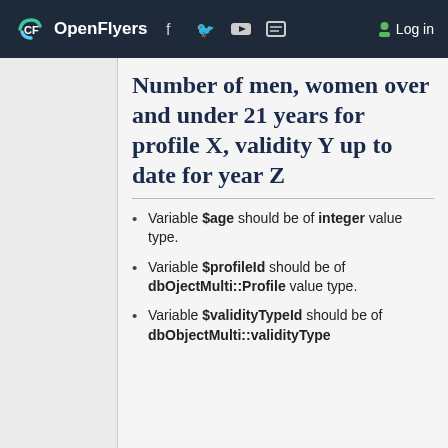OpenFlyers — Log in
Number of men, women over and under 21 years for profile X, validity Y up to date for year Z
Variable $age should be of integer value type.
Variable $profileId should be of dbOjectMulti::Profile value type.
Variable $validityTypeId should be of dbObjectMulti::validityType